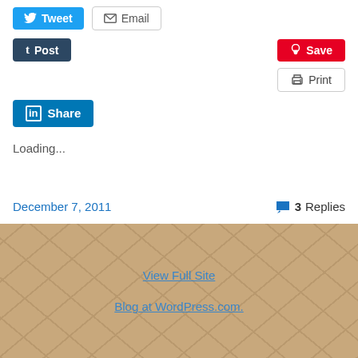[Figure (screenshot): Social sharing buttons row 1: Tweet (blue) and Email (grey outline)]
[Figure (screenshot): Social sharing buttons row 2: Post/Tumblr (dark blue) on left, Save/Pinterest (red) on right]
[Figure (screenshot): Print button (grey outline) aligned right]
[Figure (screenshot): LinkedIn Share button (blue)]
Loading...
December 7, 2011    3 Replies
View Full Site
Blog at WordPress.com.